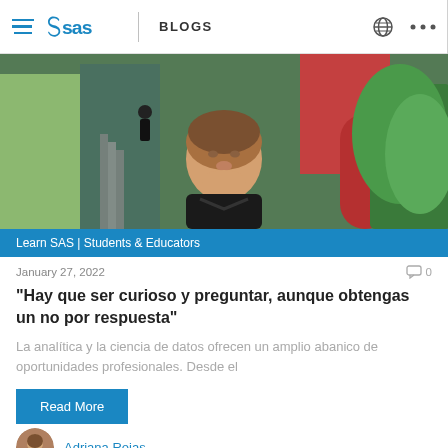SAS BLOGS
[Figure (photo): Young man standing outdoors in a colorful urban neighborhood with stairs, green plants, and colorful building facades in the background]
Learn SAS | Students & Educators
January 27, 2022
“Hay que ser curioso y preguntar, aunque obtengas un no por respuesta”
La analítica y la ciencia de datos ofrecen un amplio abanico de oportunidades profesionales. Desde el
Read More
Adriana Rojas